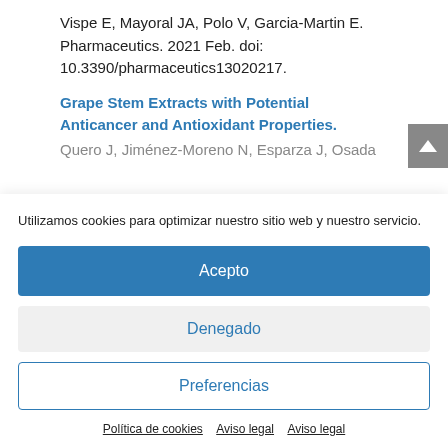Vispe E, Mayoral JA, Polo V, Garcia-Martin E. Pharmaceutics. 2021 Feb. doi: 10.3390/pharmaceutics13020217.
Grape Stem Extracts with Potential Anticancer and Antioxidant Properties.
Quero J, Jiménez-Moreno N, Esparza I, Osada...
Utilizamos cookies para optimizar nuestro sitio web y nuestro servicio.
Acepto
Denegado
Preferencias
Política de cookies   Aviso legal   Aviso legal